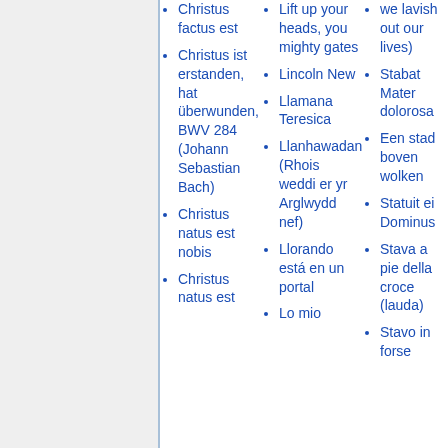Christus factus est
Christus ist erstanden, hat überwunden, BWV 284 (Johann Sebastian Bach)
Christus natus est nobis
Christus natus est
Lift up your heads, you mighty gates
Lincoln New
Llamana Teresica
Llanhawadan (Rhois weddi er yr Arglwydd nef)
Llorando está en un portal
Lo mio
we lavish out our lives)
Stabat Mater dolorosa
Een stad boven wolken
Statuit ei Dominus
Stava a pie della croce (lauda)
Stavo in forse